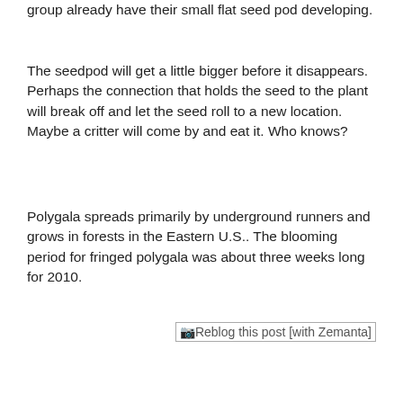group already have their small flat seed pod developing.
The seedpod will get a little bigger before it disappears. Perhaps the connection that holds the seed to the plant will break off and let the seed roll to a new location. Maybe a critter will come by and eat it. Who knows?
Polygala spreads primarily by underground runners and grows in forests in the Eastern U.S.. The blooming period for fringed polygala was about three weeks long for 2010.
[Figure (other): Reblog this post [with Zemanta] link/button]
[Figure (infographic): Social sharing buttons: Facebook, Twitter, Pinterest, Email, Share, and a scroll-to-top button]